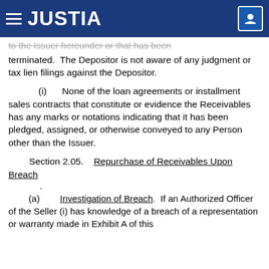JUSTIA
to the Issuer hereunder or that has been terminated.  The Depositor is not aware of any judgment or tax lien filings against the Depositor.
(i)  None of the loan agreements or installment sales contracts that constitute or evidence the Receivables has any marks or notations indicating that it has been pledged, assigned, or otherwise conveyed to any Person other than the Issuer.
Section 2.05.  Repurchase of Receivables Upon Breach
.
(a)  Investigation of Breach.  If an Authorized Officer of the Seller (i) has knowledge of a breach of a representation or warranty made in Exhibit A of this